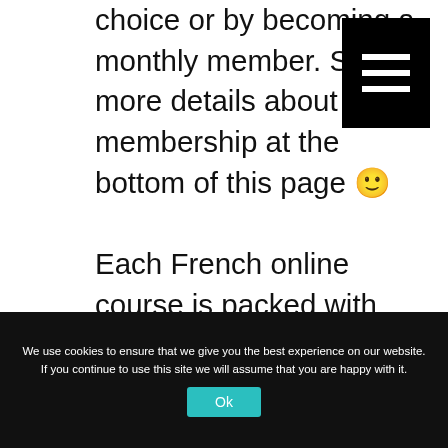choice or by becoming a monthly member. See more details about the membership at the bottom of this page 🙂
[Figure (other): Hamburger menu button — three white horizontal lines on a black square background]
Each French online course is packed with video & audio files along with written material, to make it as fun, easy, and user friendly as possible for you! Come and learn French online with me!
We use cookies to ensure that we give you the best experience on our website. If you continue to use this site we will assume that you are happy with it.
Ok